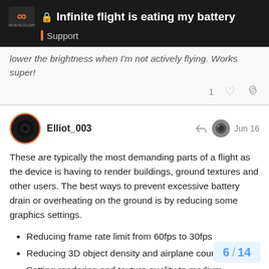Infinite flight is eating my battery — Support
lower the brightness when I'm not actively flying. Works super!
Elliot_003   Jun 16
These are typically the most demanding parts of a flight as the device is having to render buildings, ground textures and other users. The best ways to prevent excessive battery drain or overheating on the ground is by reducing some graphics settings.
Reducing frame rate limit from 60fps to 30fps
Reducing 3D object density and airplane count
Setting rendering and texture quality to medium
Also as mentioned above, turning down th helps. Sometimes when I'm doing long ha
6 / 14